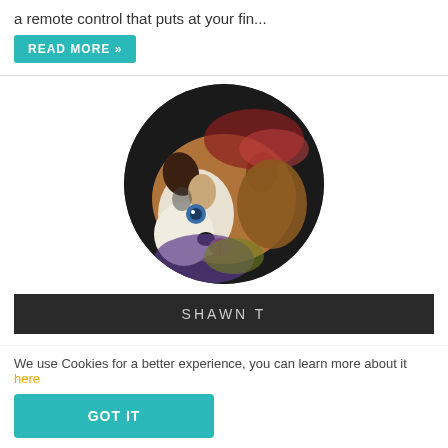a remote control that puts at your fin...
READ MORE »
[Figure (photo): Circular profile photo of a Husky dog tilting its head, with blue eye visible, brown and white fur, photographed from above in dim lighting with colorful fabric visible in background.]
SHAWN T
Love Love Love this light.
We use Cookies for a better experience, you can learn more about it here
GOT IT